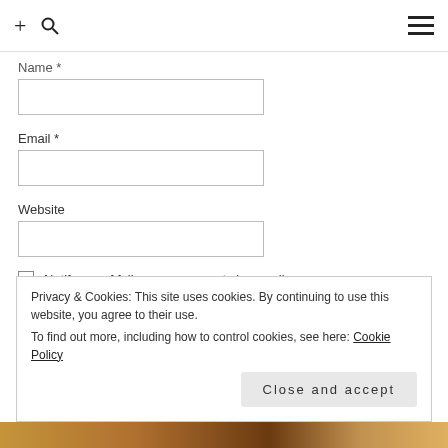+ 🔍 ☰
Name *
Email *
Website
Notify me of follow-up comments by email.
Notify me of new posts by email.
Privacy & Cookies: This site uses cookies. By continuing to use this website, you agree to their use.
To find out more, including how to control cookies, see here: Cookie Policy
Close and accept